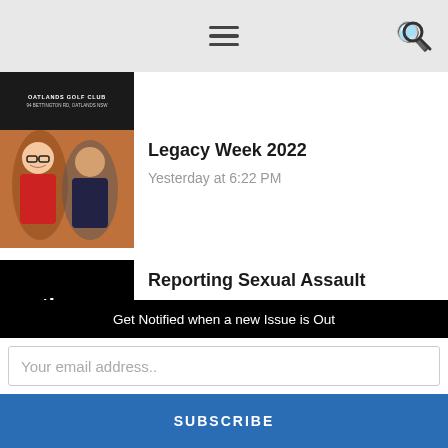Navigation menu / search bar
[Figure (photo): Thumbnail showing Oatlands Golf Club sign reading OATLANDS GOLF CLUB 94 BETTINGTON RD, OATLANDS NSW on dark background]
Legacy Week 2022
Yesterday at 6:22 PM
[Figure (photo): Two people (woman with red jacket and glasses, man in dark t-shirt) smiling at what appears to be an indoor event holding items]
[Figure (photo): Black background image with white bold text reading 'porting xual assa' (partial text visible for Reporting Sexual Assault)]
Reporting Sexual Assault
Yesterday at 6:07 PM
Get Notified when a new Issue is Out
Your email address..
SUBSCRIBE